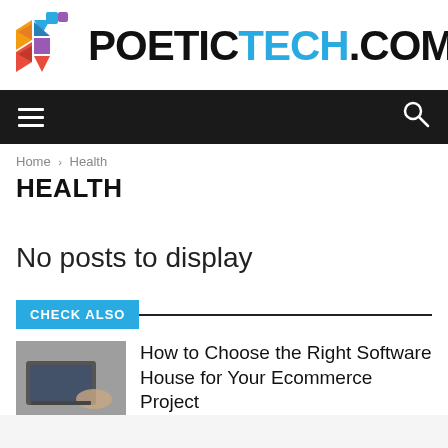[Figure (logo): PoeticTech.com logo with colorful geometric hexagon icon and bold text]
[Figure (screenshot): Dark navigation bar with hamburger menu icon on left and search icon on right]
Home › Health
HEALTH
No posts to display
CHECK ALSO
How to Choose the Right Software House for Your Ecommerce Project